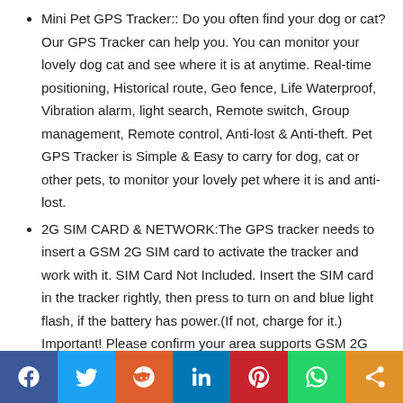Mini Pet GPS Tracker:: Do you often find your dog or cat? Our GPS Tracker can help you. You can monitor your lovely dog cat and see where it is at anytime. Real-time positioning, Historical route, Geo fence, Life Waterproof, Vibration alarm, light search, Remote switch, Group management, Remote control, Anti-lost & Anti-theft. Pet GPS Tracker is Simple & Easy to carry for dog, cat or other pets, to monitor your lovely pet where it is and anti-lost.
2G SIM CARD & NETWORK:The GPS tracker needs to insert a GSM 2G SIM card to activate the tracker and work with it. SIM Card Not Included. Insert the SIM card in the tracker rightly, then press to turn on and blue light flash, if the battery has power.(If not, charge for it.) Important! Please confirm your area supports GSM 2G network: 850/900/1800/1900MHz. Consult from T-Mobile or AT&T store. If so, you can buy a 2G SIM with 5USD/month on Amazon from SpeedTalk.
[Figure (other): Social sharing bar with Facebook, Twitter, Reddit, LinkedIn, Pinterest, WhatsApp, and Share buttons]